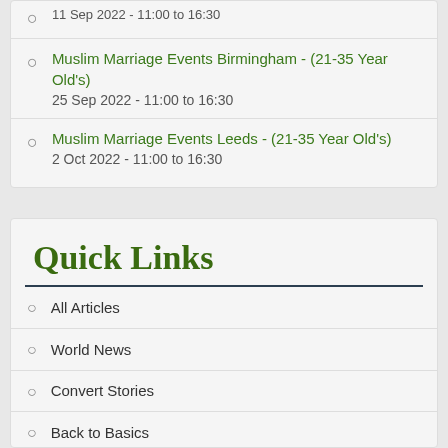11 Sep 2022 - 11:00 to 16:30
Muslim Marriage Events Birmingham - (21-35 Year Old's)
25 Sep 2022 - 11:00 to 16:30
Muslim Marriage Events Leeds - (21-35 Year Old's)
2 Oct 2022 - 11:00 to 16:30
Quick Links
All Articles
World News
Convert Stories
Back to Basics
people
History
Lifestyle